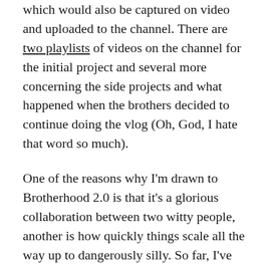which would also be captured on video and uploaded to the channel. There are two playlists of videos on the channel for the initial project and several more concerning the side projects and what happened when the brothers decided to continue doing the vlog (Oh, God, I hate that word so much).
One of the reasons why I'm drawn to Brotherhood 2.0 is that it's a glorious collaboration between two witty people, another is how quickly things scale all the way up to dangerously silly. So far, I've only seen 25 of the 200 videos from the first part of 2007, and my favorite moments so far include the improvised songs (because I do that to make my boyfriend laugh all the time) and seeing the